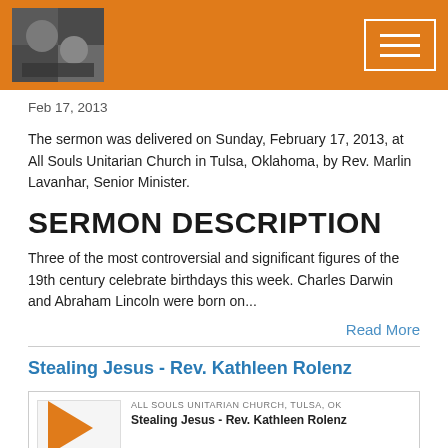All Souls Unitarian Church - header bar with logo and menu
Feb 17, 2013
The sermon was delivered on Sunday, February 17, 2013, at All Souls Unitarian Church in Tulsa, Oklahoma, by Rev. Marlin Lavanhar, Senior Minister.
SERMON DESCRIPTION
Three of the most controversial and significant figures of the 19th century celebrate birthdays this week. Charles Darwin and Abraham Lincoln were born on...
Read More
Stealing Jesus - Rev. Kathleen Rolenz
ALL SOULS UNITARIAN CHURCH, TULSA, OK
Stealing Jesus - Rev. Kathleen Rolenz